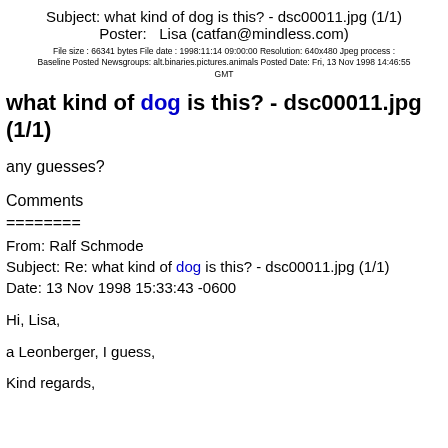Subject: what kind of dog is this? - dsc00011.jpg (1/1)
Poster:   Lisa (catfan@mindless.com)
File size : 66341 bytes File date : 1998:11:14 09:00:00 Resolution: 640x480 Jpeg process : Baseline Posted Newsgroups: alt.binaries.pictures.animals Posted Date: Fri, 13 Nov 1998 14:46:55 GMT
what kind of dog is this? - dsc00011.jpg (1/1)
any guesses?
Comments
========
From: Ralf Schmode
Subject: Re: what kind of dog is this? - dsc00011.jpg (1/1)
Date: 13 Nov 1998 15:33:43 -0600
Hi, Lisa,
a Leonberger, I guess,
Kind regards,